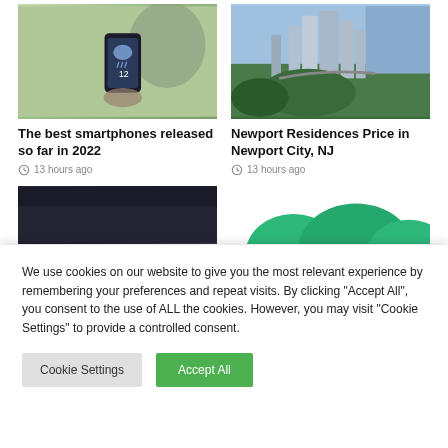[Figure (photo): Person holding a smartphone showing weather/rain app with number 12]
[Figure (photo): Aerial view of Newport City, NJ with tall buildings and waterfront]
The best smartphones released so far in 2022
13 hours ago
Newport Residences Price in Newport City, NJ
13 hours ago
[Figure (photo): Dark background partial image - bottom article card left]
[Figure (illustration): Green hills/mountains graphic - partial bottom right card]
We use cookies on our website to give you the most relevant experience by remembering your preferences and repeat visits. By clicking "Accept All", you consent to the use of ALL the cookies. However, you may visit "Cookie Settings" to provide a controlled consent.